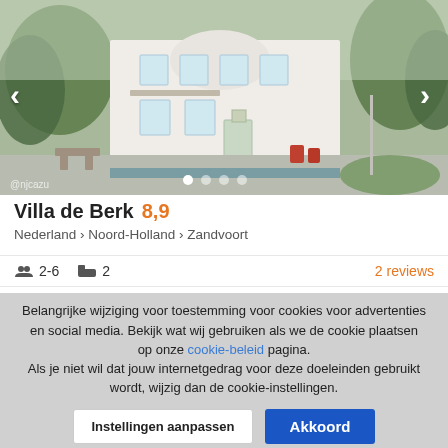[Figure (photo): Exterior photo of Villa de Berk, a white multi-story building with trees and a courtyard, with navigation arrows and carousel dots]
Villa de Berk 8,9
Nederland › Noord-Holland › Zandvoort
2-6  2  2 reviews
Belangrijke wijziging voor toestemming voor cookies voor advertenties en social media. Bekijk wat wij gebruiken als we de cookie plaatsen op onze cookie-beleid pagina. Als je niet wil dat jouw internetgedrag voor deze doeleinden gebruikt wordt, wijzig dan de cookie-instellingen.
Instellingen aanpassen
Akkoord